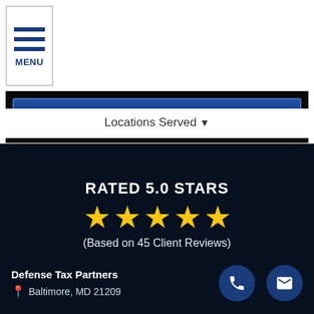MENU
SUBMIT MY REQUEST
Locations Served
RATED 5.0 STARS
(Based on 45 Client Reviews)
Defense Tax Partners
Baltimore, MD 21209